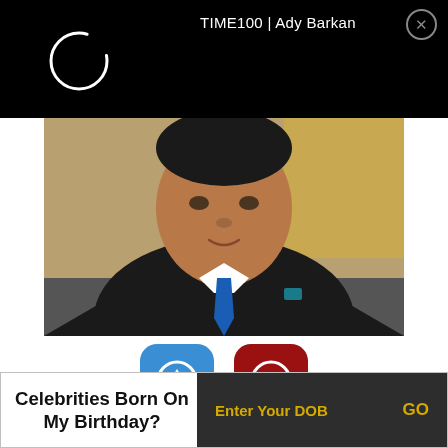TIME100 | Ady Barkan
[Figure (photo): Loading spinner circle (white outline on black background) in top left of header bar]
[Figure (photo): Photo of a man in a black suit and blue tie, looking at the camera]
[Figure (infographic): Two vote buttons: blue up-vote button showing 13 votes and dark red down-vote button showing 7 votes]
Celebrities Born On My Birthday?
Enter Your DOB
GO